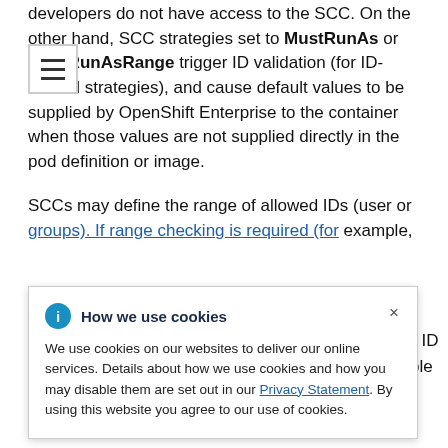developers do not have access to the SCC. On the other hand, SCC strategies set to MustRunAs or MustRunAsRange trigger ID validation (for ID-related strategies), and cause default values to be supplied by OpenShift Enterprise to the container when those values are not supplied directly in the pod definition or image.
SCCs may define the range of allowed IDs (user or groups). If range checking is required (for example, [text partially hidden] is not [text partially hidden] mines the ID [text partially hidden] of allowable [text partially hidden] define [text partially hidden] use they define the boundaries for container IDs, but also
[Figure (other): Cookie consent popup overlay reading: 'How we use cookies. We use cookies on our websites to deliver our online services. Details about how we use cookies and how you may disable them are set out in our Privacy Statement. By using this website you agree to our use of cookies.' with a close (x) button and an information icon.]